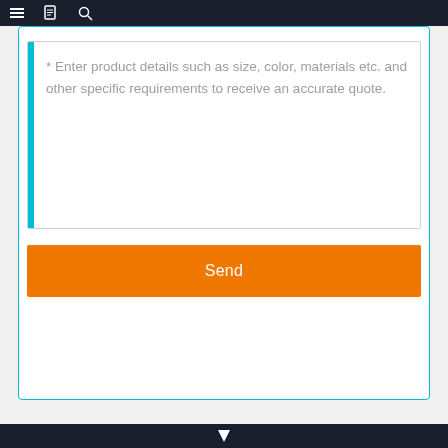[Figure (screenshot): Mobile app navigation bar with hamburger menu, document icon, and search icon on dark background]
* Enter product details such as size, color, materials etc. and other specific requirements to receive an accurate quote.
Send